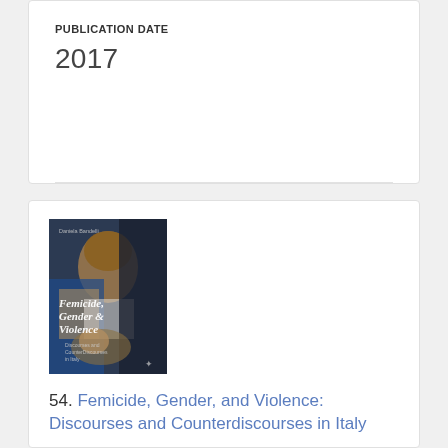PUBLICATION DATE
2017
[Figure (photo): Book cover of 'Femicide, Gender & Violence: Discourses and Counterdiscourses in Italy' by Daniela Bandelli, featuring a classical painting of a woman holding a severed head on a platter.]
54. Femicide, Gender, and Violence: Discourses and Counterdiscourses in Italy